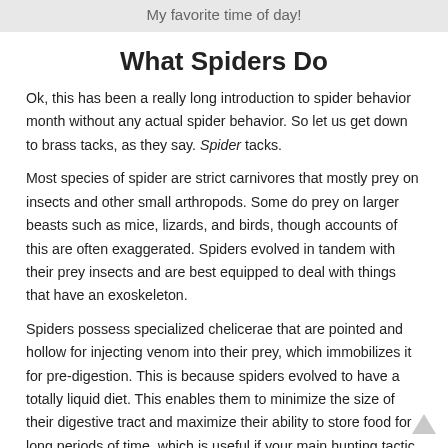[Figure (other): Gray banner at top with text 'My favorite time of day!']
What Spiders Do
Ok, this has been a really long introduction to spider behavior month without any actual spider behavior. So let us get down to brass tacks, as they say. Spider tacks.
Most species of spider are strict carnivores that mostly prey on insects and other small arthropods. Some do prey on larger beasts such as mice, lizards, and birds, though accounts of this are often exaggerated. Spiders evolved in tandem with their prey insects and are best equipped to deal with things that have an exoskeleton.
Spiders possess specialized chelicerae that are pointed and hollow for injecting venom into their prey, which immobilizes it for pre-digestion. This is because spiders evolved to have a totally liquid diet. This enables them to minimize the size of their digestive tract and maximize their ability to store food for long periods of time, which is useful if your main hunting tactic is hoping an insect will bumble into your web. I went into the digestion of spiders in a lot...